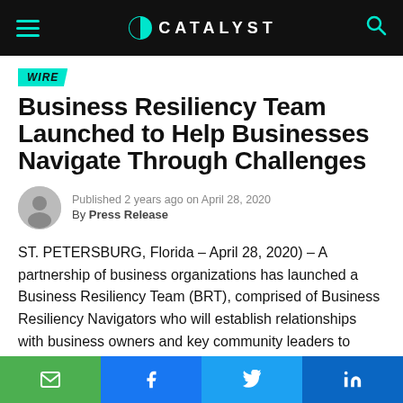CATALYST
WIRE
Business Resiliency Team Launched to Help Businesses Navigate Through Challenges
Published 2 years ago on April 28, 2020
By Press Release
ST. PETERSBURG, Florida – April 28, 2020) – A partnership of business organizations has launched a Business Resiliency Team (BRT), comprised of Business Resiliency Navigators who will establish relationships with business owners and key community leaders to